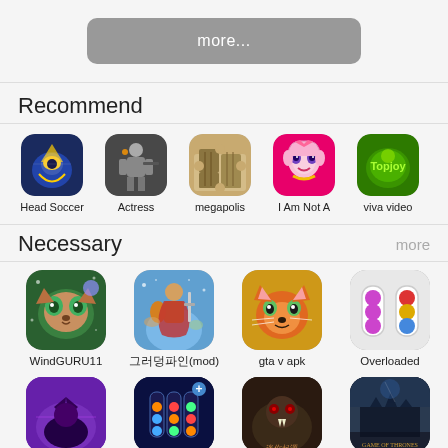more...
Recommend
[Figure (screenshot): Row of 5 app icons with names: Head Soccer, Actress, megapolis, I Am Not A, viva video]
Necessary
[Figure (screenshot): Row of 4 large app icons with names: WindGURU11, 버블런쳐(mod), gta v apk, Overloaded]
[Figure (screenshot): Row of 4 partially visible app icons at the bottom]